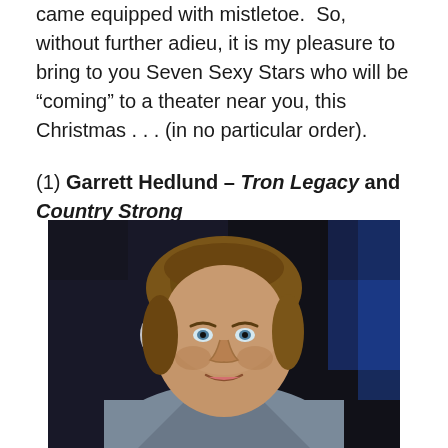came equipped with mistletoe.  So, without further adieu, it is my pleasure to bring to you Seven Sexy Stars who will be “coming” to a theater near you, this Christmas . . . (in no particular order).
(1) Garrett Hedlund – Tron Legacy and Country Strong
[Figure (photo): Photo of Garrett Hedlund, a young man with light brown hair, blue eyes, wearing a grey shirt, smiling slightly, photographed against a dark background with blue lighting on the right side.]